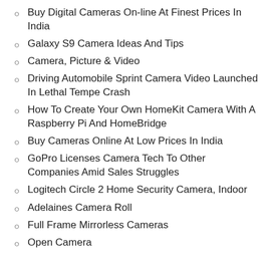Buy Digital Cameras On-line At Finest Prices In India
Galaxy S9 Camera Ideas And Tips
Camera, Picture & Video
Driving Automobile Sprint Camera Video Launched In Lethal Tempe Crash
How To Create Your Own HomeKit Camera With A Raspberry Pi And HomeBridge
Buy Cameras Online At Low Prices In India
GoPro Licenses Camera Tech To Other Companies Amid Sales Struggles
Logitech Circle 2 Home Security Camera, Indoor
Adelaines Camera Roll
Full Frame Mirrorless Cameras
Open Camera